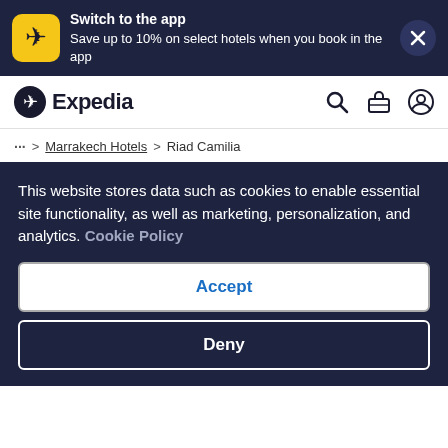[Figure (screenshot): Expedia app promotional banner with yellow airplane icon, text about switching to app, and close button]
[Figure (logo): Expedia logo with airplane icon, search, suitcase, and user icons in navigation bar]
... > Marrakech Hotels > Riad Camilia
← See all properties
[Figure (photo): Primary image placeholder (broken image icon)]
This website stores data such as cookies to enable essential site functionality, as well as marketing, personalization, and analytics. Cookie Policy
Accept
Deny